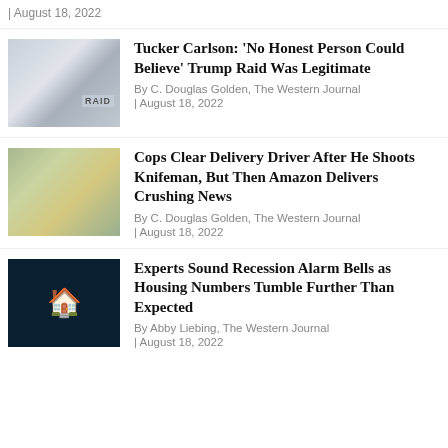| August 18, 2022
[Figure (photo): Tucker Carlson TV segment screenshot with RAID text overlay]
Tucker Carlson: 'No Honest Person Could Believe' Trump Raid Was Legitimate
By C. Douglas Golden, The Western Journal
| August 18, 2022
[Figure (photo): Delivery driver outdoors photo]
Cops Clear Delivery Driver After He Shoots Knifeman, But Then Amazon Delivers Crushing News
By C. Douglas Golden, The Western Journal
| August 18, 2022
[Figure (photo): Dark housing/recession themed image with house icon]
Experts Sound Recession Alarm Bells as Housing Numbers Tumble Further Than Expected
By Abby Liebing, The Western Journal
| August 18, 2022